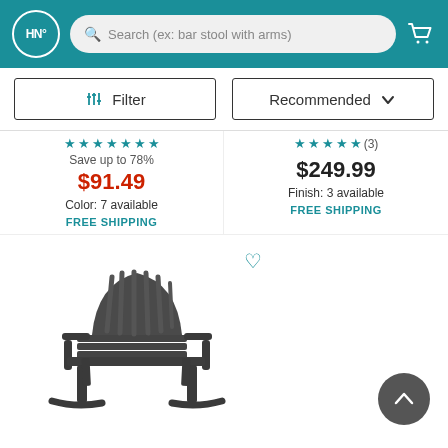HN° | Search (ex: bar stool with arms)
Filter | Recommended
Save up to 78%
$91.49
Color: 7 available
FREE SHIPPING
★★★★★ (3)
$249.99
Finish: 3 available
FREE SHIPPING
[Figure (photo): Dark gray Adirondack rocking chair product image]
Back to top button (scroll up arrow)